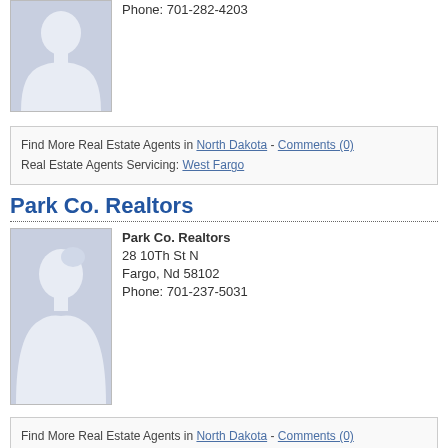[Figure (illustration): Placeholder silhouette avatar image for a real estate agent, gray background with white person outline]
Phone: 701-282-4203
Find More Real Estate Agents in North Dakota - Comments (0)
Real Estate Agents Servicing: West Fargo
Park Co. Realtors
[Figure (illustration): Placeholder silhouette avatar image for Park Co. Realtors, gray background with white person outline]
Park Co. Realtors
28 10Th St N
Fargo, Nd 58102
Phone: 701-237-5031
Find More Real Estate Agents in North Dakota - Comments (0)
Real Estate Agents Servicing: Fargo